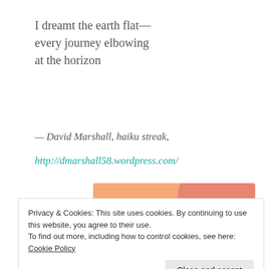I dreamt the earth flat—
every journey elbowing
at the horizon
— David Marshall, haiku streak,
http://dmarshall58.wordpress.com/
[Figure (screenshot): WordPress advertisement banner with text 'WordPress in the back.' on a colorful orange/pink/lavender gradient background]
Privacy & Cookies: This site uses cookies. By continuing to use this website, you agree to their use.
To find out more, including how to control cookies, see here: Cookie Policy
Close and accept